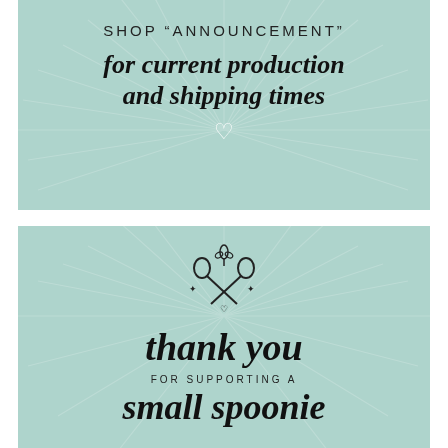[Figure (illustration): Top mint-green panel with sunburst rays in background, containing shop announcement text and a heart symbol]
SHOP "ANNOUNCEMENT"
for current production and shipping times
[Figure (illustration): Bottom mint-green panel with sunburst rays, crossed spoons logo icon, thank you text, for supporting a small spoonie]
thank you
FOR SUPPORTING A
small spoonie